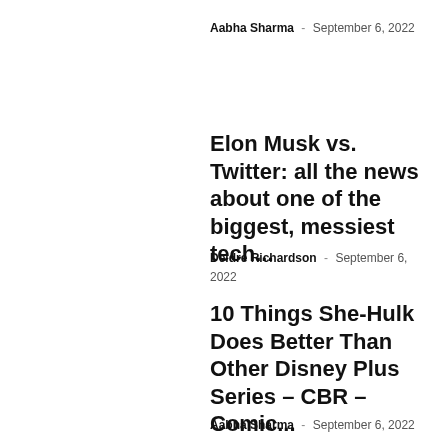Aabha Sharma - September 6, 2022
Elon Musk vs. Twitter: all the news about one of the biggest, messiest tech...
Deidre Richardson - September 6, 2022
10 Things She-Hulk Does Better Than Other Disney Plus Series – CBR – Comic...
Aabha Sharma - September 6, 2022